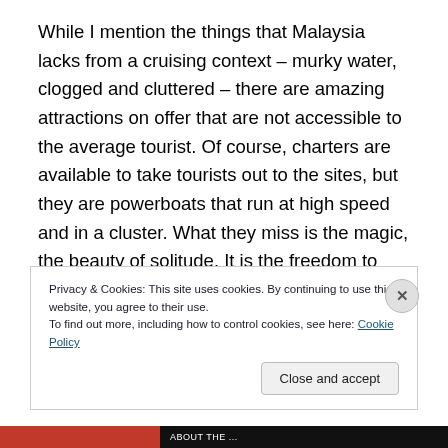While I mention the things that Malaysia lacks from a cruising context – murky water, clogged and cluttered – there are amazing attractions on offer that are not accessible to the average tourist. Of course, charters are available to take tourists out to the sites, but they are powerboats that run at high speed and in a cluster. What they miss is the magic, the beauty of solitude. It is the freedom to stay where you want, for as long as you want
Privacy & Cookies: This site uses cookies. By continuing to use this website, you agree to their use.
To find out more, including how to control cookies, see here: Cookie Policy